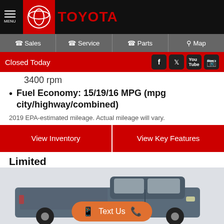MENU | TOYOTA
Sales | Service | Parts | Map
Closed Today
3400 rpm
Fuel Economy: 15/19/16 MPG (mpg city/highway/combined)
2019 EPA-estimated mileage. Actual mileage will vary.
View Inventory | View Key Features
Limited
[Figure (photo): Toyota Tundra truck side view in dark blue/grey color with orange Text Us button overlay]